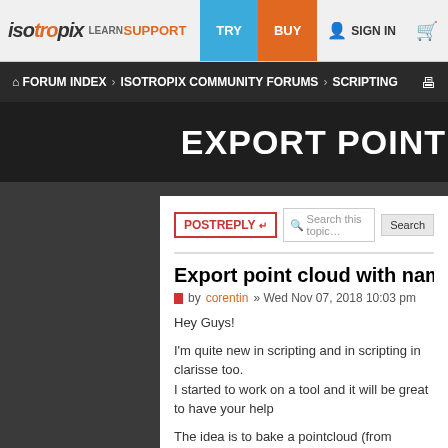isotropix LEARN SUPPORT TRY BUY SIGN IN [cart]
FORUM INDEX › ISOTROPIX COMMUNITY FORUMS › SCRIPTING [print]
EXPORT POINT
POSTREPLY | Search this topic… | Search
Export point cloud with name and ma
by corentin » Wed Nov 07, 2018 10:03 pm
Hey Guys!

I'm quite new in scripting and in scripting in clarisse too.
I started to work on a tool and it will be great to have your help

The idea is to bake a pointcloud (from multiple scatterer in a co
I manage (by checking at your scripts post in the forum) to crea
points but I'm stuck when it come to set the property (name an